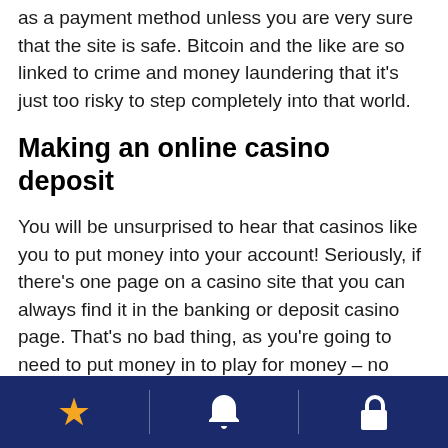as a payment method unless you are very sure that the site is safe. Bitcoin and the like are so linked to crime and money laundering that it's just too risky to step completely into that world.
Making an online casino deposit
You will be unsurprised to hear that casinos like you to put money into your account! Seriously, if there's one page on a casino site that you can always find it in the banking or deposit casino page. That's no bad thing, as you're going to need to put money in to play for money – no cash in, no cash-out!
The process should be simple. You will need an
★ 🔔 🔒